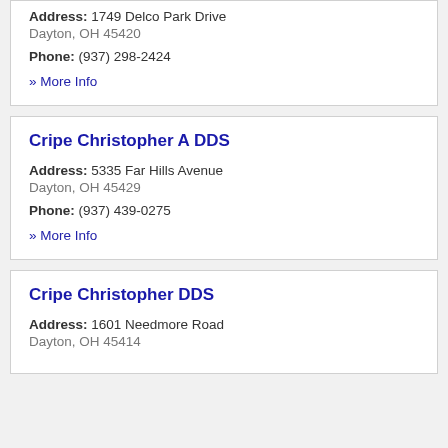Address: 1749 Delco Park Drive
Dayton, OH 45420
Phone: (937) 298-2424
» More Info
Cripe Christopher A DDS
Address: 5335 Far Hills Avenue
Dayton, OH 45429
Phone: (937) 439-0275
» More Info
Cripe Christopher DDS
Address: 1601 Needmore Road
Dayton, OH 45414